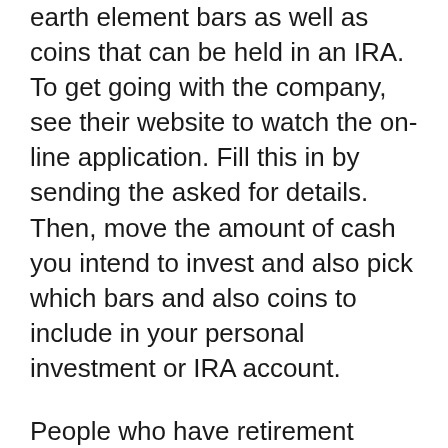earth element bars as well as coins that can be held in an IRA. To get going with the company, see their website to watch the online application. Fill this in by sending the asked for details. Then, move the amount of cash you intend to invest and also pick which bars and also coins to include in your personal investment or IRA account.
People who have retirement plans presently, and who desire to roll these over right into their new account with Regal Assets, can do this as well. For any concerns concerning the procedure entailed, or to check whether your account certifies to do this, you can speak to the Regal Assets support group.
Capitalists can have confidence when